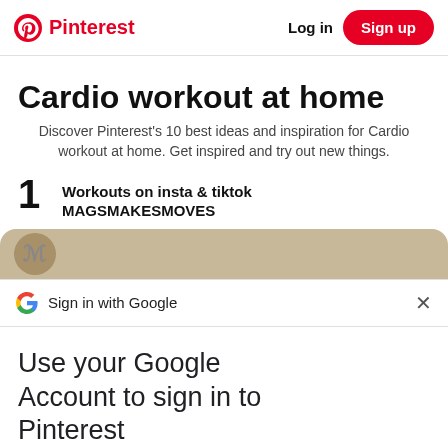Pinterest   Log in   Sign up
Cardio workout at home
Discover Pinterest's 10 best ideas and inspiration for Cardio workout at home. Get inspired and try out new things.
1   Workouts on insta & tiktok MAGSMAKESMOVES
[Figure (screenshot): Partial tan/beige card preview with an avatar placeholder]
Sign in with Google   ×
Use your Google Account to sign in to Pinterest
No more passwords to remember. Signing in is fast, simple and secure.